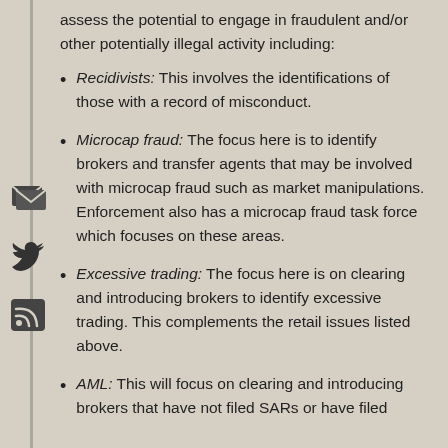assess the potential to engage in fraudulent and/or other potentially illegal activity including:
Recidivists: This involves the identifications of those with a record of misconduct.
Microcap fraud: The focus here is to identify brokers and transfer agents that may be involved with microcap fraud such as market manipulations. Enforcement also has a microcap fraud task force which focuses on these areas.
Excessive trading: The focus here is on clearing and introducing brokers to identify excessive trading. This complements the retail issues listed above.
AML: This will focus on clearing and introducing brokers that have not filed SARs or have filed